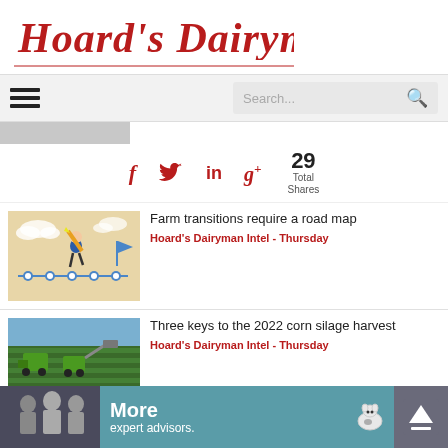[Figure (logo): Hoard's Dairyman magazine logo in red serif/gothic font]
[Figure (screenshot): Navigation bar with hamburger menu icon on left and search box with magnifying glass icon on right]
[Figure (infographic): Social share icons: Facebook (f), Twitter (bird), LinkedIn (in), Google+ (g+), and share count showing 29 Total Shares]
[Figure (illustration): Article thumbnail: illustrated man walking with pencil past a roadmap/checklist on beige background]
Farm transitions require a road map
Hoard's Dairyman Intel - Thursday
[Figure (photo): Article thumbnail: aerial photo of farm machinery harvesting corn silage in a green field]
Three keys to the 2022 corn silage harvest
Hoard's Dairyman Intel - Thursday
[Figure (infographic): Advertisement banner: teal background with people silhouette on left, text 'More expert advisors.' with cow icon, and dark scroll-to-top arrow button on right]